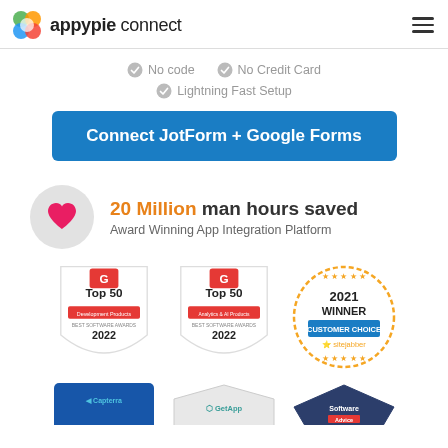appypie connect
No code
No Credit Card
Lightning Fast Setup
Connect JotForm + Google Forms
20 Million man hours saved
Award Winning App Integration Platform
[Figure (infographic): G2 Top 50 Development Products Best Software Awards 2022 badge]
[Figure (infographic): G2 Top 50 Analytics & AI Products Best Software Awards 2022 badge]
[Figure (infographic): 2021 Winner Customer Choice Sitejabber badge with orange star wreath]
[Figure (infographic): Capterra badge (partial)]
[Figure (infographic): GetApp badge (partial)]
[Figure (infographic): Software Advice badge (partial)]